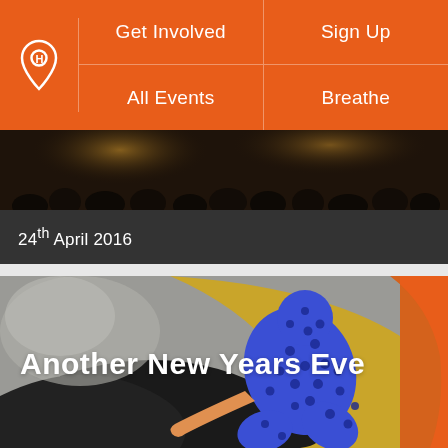Get Involved | Sign Up | All Events | Breathe
[Figure (photo): Dark crowd scene strip — audience at an event, dimly lit warm tones]
24th April 2016
[Figure (illustration): Colorful flat illustration of a figure in blue polka-dot outfit against grey, gold, and orange background shapes]
Another New Years Eve